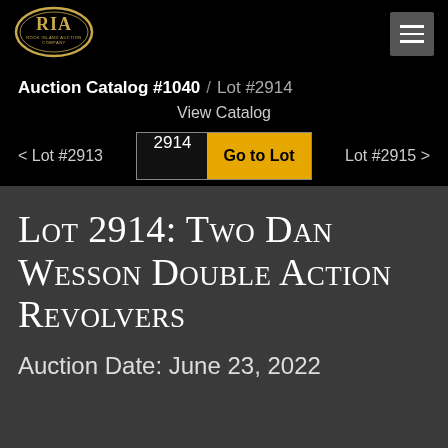[Figure (logo): Rock Island Auction Company (RIA) logo — oval gold border with RIA in large letters and ROCK ISLAND AUCTION COMPANY in smaller text below]
Auction Catalog #1040  /  Lot #2914
View Catalog
< Lot #2913
2914  Go to Lot
Lot #2915 >
Lot 2914: Two Dan Wesson Double Action Revolvers
Auction Date: June 23, 2022